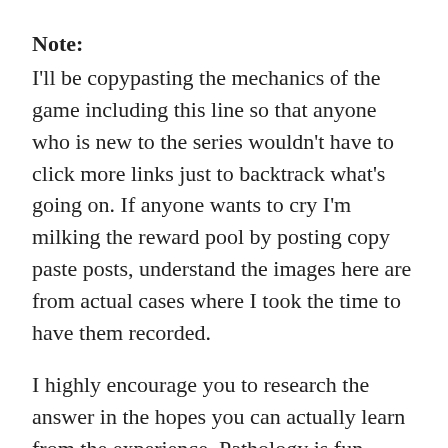Note:
I'll be copypasting the mechanics of the game including this line so that anyone who is new to the series wouldn't have to click more links just to backtrack what's going on. If anyone wants to cry I'm milking the reward pool by posting copy paste posts, understand the images here are from actual cases where I took the time to have them recorded.
I highly encourage you to research the answer in the hopes you can actually learn from the experience. Pathology is fun.
I'm also confident you can't find any image that match exactly as the ones I'm sharing because these are from my personal study slides. You can of course see similar images because they can show